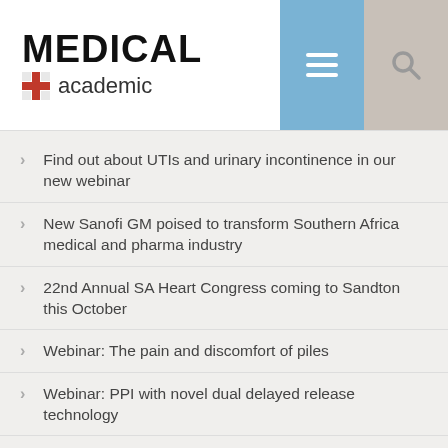[Figure (logo): Medical Academic logo with red cross icon, bold MEDICAL text and lighter academic text below]
Find out about UTIs and urinary incontinence in our new webinar
New Sanofi GM poised to transform Southern Africa medical and pharma industry
22nd Annual SA Heart Congress coming to Sandton this October
Webinar: The pain and discomfort of piles
Webinar: PPI with novel dual delayed release technology
Owners of healthcare practices may be held liable for negligent acts of associates employed by the practice
Global Self-Care Federation to host Global Congress in Cape Town
Collaborating with the community to lower infant and maternal mortality rates in Chad